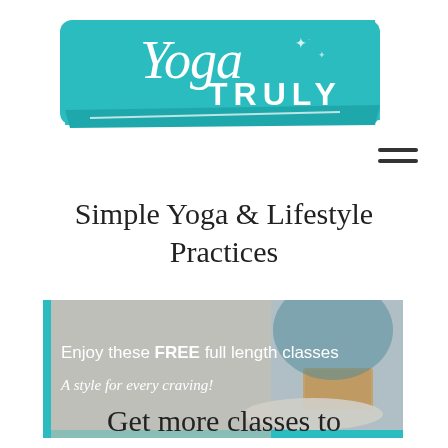[Figure (logo): Yoga Truly logo on teal brushstroke background with script 'Yoga' and block letters 'TRULY']
[Figure (other): Hamburger menu icon (three horizontal lines)]
Simple Yoga & Lifestyle Practices
[Figure (photo): Banner image showing yoga mat, folded towel and yoga block with text 'Enjoy these FREE full length classes' and 'A style for every craving!']
Get more classes to